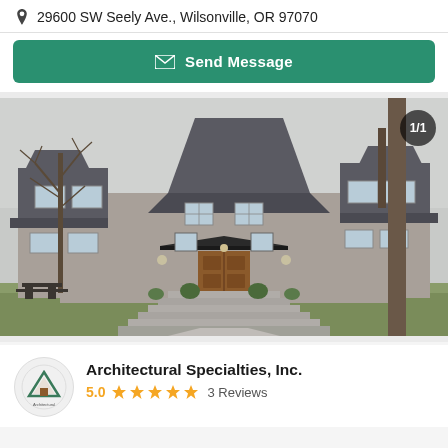29600 SW Seely Ave., Wilsonville, OR 97070
Send Message
[Figure (photo): Exterior photo of a large two-story gray stucco house with dark roof, multiple gabled peaks, a covered entry with wooden doors, wide front steps, and bare trees on either side. Badge showing 1/1 in upper right corner.]
Architectural Specialties, Inc.
5.0 ★★★★★ 3 Reviews